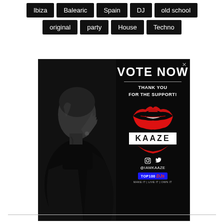Ibiza  Balearic  Spain  DJ  old school
original  party  House  Techno
[Figure (photo): Advertisement banner featuring a DJ (KAAZE) in black and white photo on left side, with text 'VOTE NOW', 'THANK YOU FOR THE SUPPORT!', red lips illustration, KAAZE logo, social media handles @IAMKAAZE, and TOP100 DJs badge on right side. Close button (x) in top right corner.]